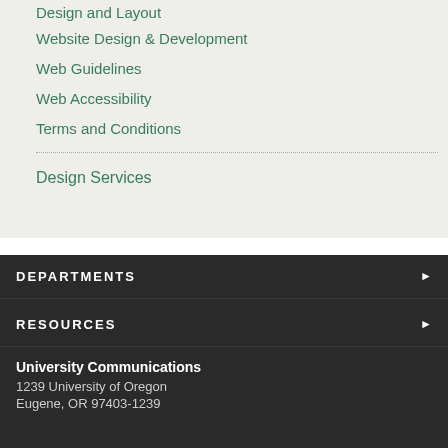Design and Layout
Website Design & Development
Web Guidelines
Web Accessibility
Terms and Conditions
Design Services
DEPARTMENTS
RESOURCES
University Communications
1239 University of Oregon
Eugene, OR 97403-1239